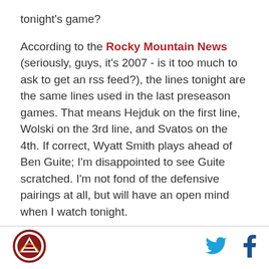tonight's game?
According to the Rocky Mountain News (seriously, guys, it's 2007 - is it too much to ask to get an rss feed?), the lines tonight are the same lines used in the last preseason games. That means Hejduk on the first line, Wolski on the 3rd line, and Svatos on the 4th. If correct, Wyatt Smith plays ahead of Ben Guite; I'm disappointed to see Guite scratched. I'm not fond of the defensive pairings at all, but will have an open mind when I watch tonight.
[Figure (logo): Sports team logo, circular red and white emblem]
[Figure (logo): Twitter bird icon in cyan]
[Figure (logo): Facebook f icon in dark blue]